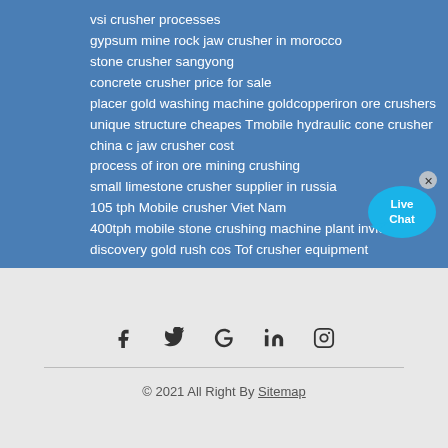vsi crusher processes
gypsum mine rock jaw crusher in morocco
stone crusher sangyong
concrete crusher price for sale
placer gold washing machine goldcopperiron ore crushers
unique structure cheapes Tmobile hydraulic cone crusher
china c jaw crusher cost
process of iron ore mining crushing
small limestone crusher supplier in russia
105 tph Mobile crusher Viet Nam
400tph mobile stone crushing machine plant invietnam
discovery gold rush cos Tof crusher equipment
[Figure (illustration): Live Chat button with speech bubble icon in blue, with an X close button in top right corner]
[Figure (illustration): Social media icons row: Facebook (f), Twitter (bird), Google (G), LinkedIn (in), Instagram (camera)]
© 2021 All Right By Sitemap